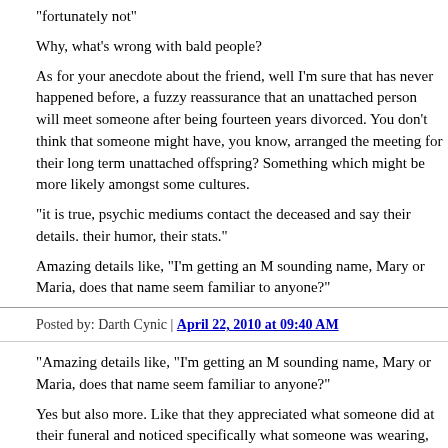"fortunately not"
Why, what's wrong with bald people?
As for your anecdote about the friend, well I'm sure that has never happened before, a fuzzy reassurance that an unattached person will meet someone after being fourteen years divorced. You don't think that someone might have, you know, arranged the meeting for their long term unattached offspring? Something which might be more likely amongst some cultures.
"it is true, psychic mediums contact the deceased and say their details. their humor, their stats."
Amazing details like, "I'm getting an M sounding name, Mary or Maria, does that name seem familiar to anyone?"
Posted by: Darth Cynic | April 22, 2010 at 09:40 AM
"Amazing details like, "I'm getting an M sounding name, Mary or Maria, does that name seem familiar to anyone?"
Yes but also more. Like that they appreciated what someone did at their funeral and noticed specifically what someone was wearing, colors, etc.
They said the speech was too boring and official, they would have liked something more fun and happy.